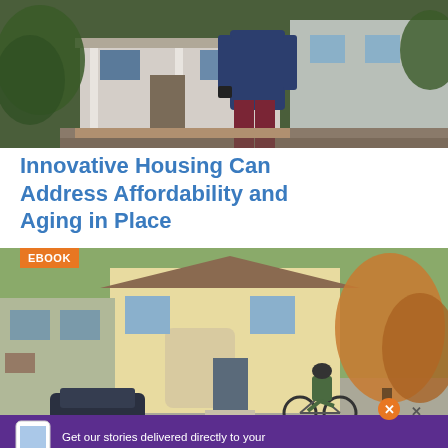[Figure (photo): Person standing in front of a house with a covered porch, wearing dark blue top and maroon pants, holding a camera or device, surrounded by green trees]
Innovative Housing Can Address Affordability and Aging in Place
[Figure (photo): A person on a bicycle riding along a residential street in front of a large yellow two-story house, with trees showing autumn colors and a car parked in driveway. An EBOOK badge is overlaid in the top-left corner.]
Get our stories delivered directly to your phone with the NEW Next City app!